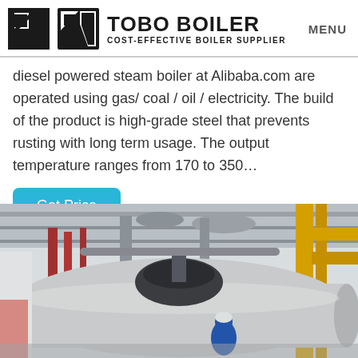TOBO BOILER | COST-EFFECTIVE BOILER SUPPLIER | MENU
diesel powered steam boiler at Alibaba.com are operated using gas/ coal / oil / electricity. The build of the product is high-grade steel that prevents rusting with long term usage. The output temperature ranges from 170 to 350…
Get Price
[Figure (photo): Industrial boiler in a factory setting — a large horizontal cylindrical steam boiler (silver/metallic) with a dark dome top, yellow piping on the right side, red pipes in the background, and a worker in blue work clothes and helmet visible near the boiler.]